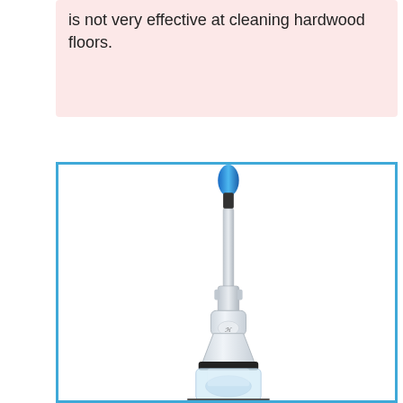is not very effective at cleaning hardwood floors.
[Figure (photo): A Hoover upright vacuum cleaner viewed from the front, with a blue-tipped handle extending upward, white body, and transparent dust cup at the base, shown against a white background inside a blue border.]